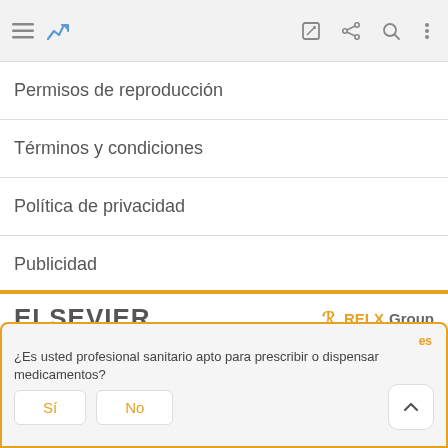[Figure (screenshot): Mobile app navigation bar with hamburger menu icon, chart icon (blue), edit/pencil icon, share icon, search icon, and vertical dots menu icon]
Permisos de reproducción
Términos y condiciones
Política de privacidad
Publicidad
[Figure (logo): ELSEVIER logo (grey serif text) and RELX Group logo (orange R symbol with RELX in orange and Group in grey)]
© Copyright 2022. Academia Española de Dermatología y Venerología
Este website utiliza cookies. Para rechazar o conocer más, visite nuestra página de
¿Es usted profesional sanitario apto para prescribir o dispensar medicamentos?
Sí
No